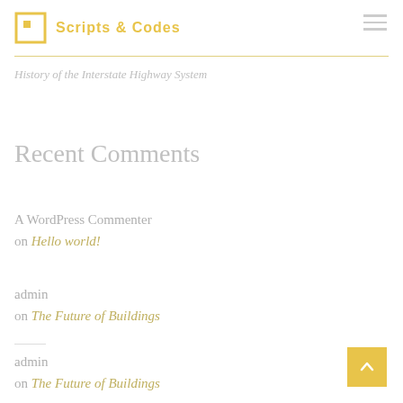Scripts & Codes
History of the Interstate Highway System
Recent Comments
A WordPress Commenter on Hello world!
admin on The Future of Buildings
admin on The Future of Buildings